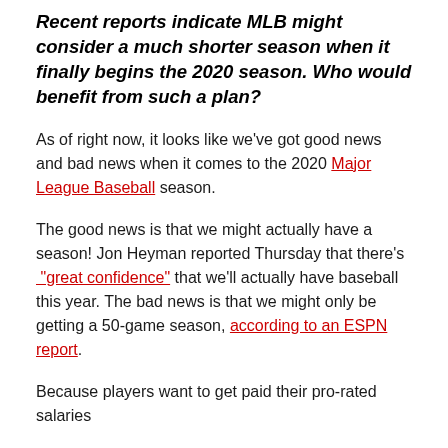Recent reports indicate MLB might consider a much shorter season when it finally begins the 2020 season. Who would benefit from such a plan?
As of right now, it looks like we've got good news and bad news when it comes to the 2020 Major League Baseball season.
The good news is that we might actually have a season! Jon Heyman reported Thursday that there's "great confidence" that we'll actually have baseball this year. The bad news is that we might only be getting a 50-game season, according to an ESPN report.
Because players want to get paid their pro-rated salaries for a season close to 2020, something that apparently...